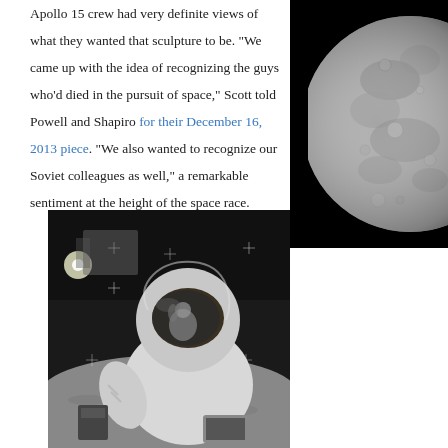Apollo 15 crew had very definite views of what they wanted that sculpture to be. "We came up with the idea of recognizing the guys who'd died in the pursuit of space," Scott told Powell and Shapiro for their December 16, 2013 piece. "We also wanted to recognize our Soviet colleagues as well," a remarkable sentiment at the height of the space race.
[Figure (photo): Close-up photograph of the Moon against black space, showing craters and surface detail, cropped to show the right portion of the lunar disc]
[Figure (photo): Black and white photograph of an Apollo astronaut in a spacesuit on the lunar surface, with a reflection visible in the helmet visor showing another astronaut. The lunar module and equipment are visible in the background.]